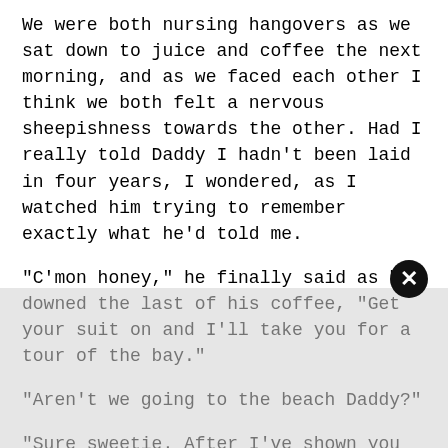We were both nursing hangovers as we sat down to juice and coffee the next morning, and as we faced each other I think we both felt a nervous sheepishness towards the other. Had I really told Daddy I hadn't been laid in four years, I wondered, as I watched him trying to remember exactly what he'd told me.
“C’mon honey,” he finally said as he downed the last of his coffee, “Get your suit on and I’ll take you for a tour of the bay.”
“Aren’t we going to the beach Daddy?”
“Sure sweetie. After I’ve shown you all the highlights we’ll stop at Haulover and spend the afternoon there.”
“We can go there by boat?”
“Yup,” Daddy smiled, “Now go and get your stuff; the boats pulling out in five minutes.”